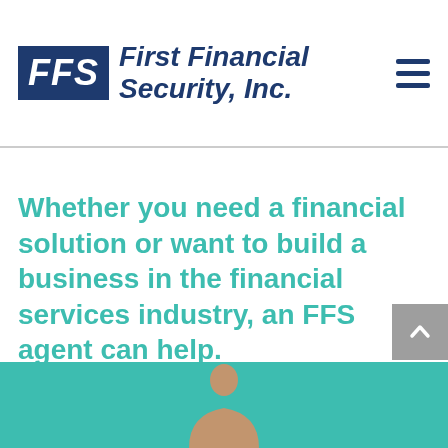FFS First Financial Security, Inc.
Whether you need a financial solution or want to build a business in the financial services industry, an FFS agent can help.
Connect FFS Today